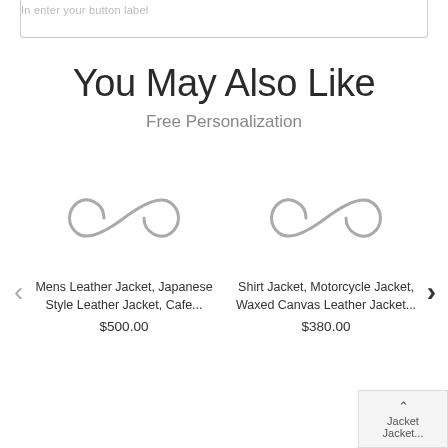In enter your button label
You May Also Like
Free Personalization
[Figure (illustration): Infinity symbol / loading placeholder icon for first product image]
Mens Leather Jacket, Japanese Style Leather Jacket, Cafe... $500.00
[Figure (illustration): Infinity symbol / loading placeholder icon for second product image]
Shirt Jacket, Motorcycle Jacket, Waxed Canvas Leather Jacket... $380.00